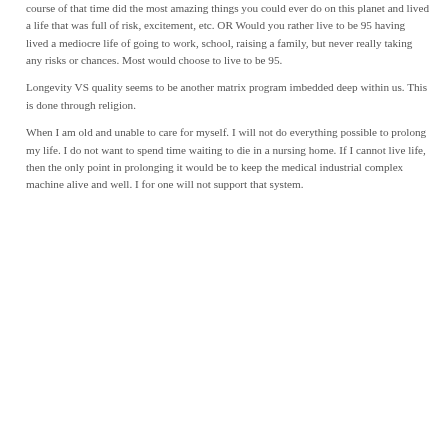course of that time did the most amazing things you could ever do on this planet and lived a life that was full of risk, excitement, etc. OR Would you rather live to be 95 having lived a mediocre life of going to work, school, raising a family, but never really taking any risks or chances. Most would choose to live to be 95.
Longevity VS quality seems to be another matrix program imbedded deep within us. This is done through religion.
When I am old and unable to care for myself. I will not do everything possible to prolong my life. I do not want to spend time waiting to die in a nursing home. If I cannot live life, then the only point in prolonging it would be to keep the medical industrial complex machine alive and well. I for one will not support that system.